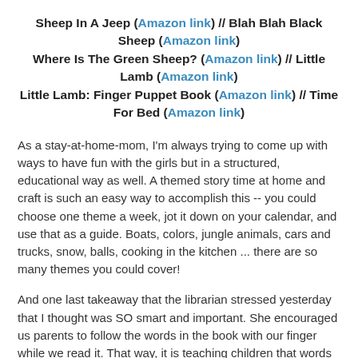Sheep In A Jeep (Amazon link) // Blah Blah Black Sheep (Amazon link) Where Is The Green Sheep? (Amazon link) // Little Lamb (Amazon link) Little Lamb: Finger Puppet Book (Amazon link) // Time For Bed (Amazon link)
As a stay-at-home-mom, I'm always trying to come up with ways to have fun with the girls but in a structured, educational way as well. A themed story time at home and craft is such an easy way to accomplish this -- you could choose one theme a week, jot it down on your calendar, and use that as a guide. Boats, colors, jungle animals, cars and trucks, snow, balls, cooking in the kitchen ... there are so many themes you could cover!
And one last takeaway that the librarian stressed yesterday that I thought was SO smart and important. She encouraged us parents to follow the words in the book with our finger while we read it. That way, it is teaching children that words